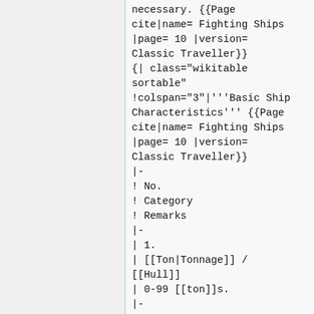necessary. {{Page cite|name= Fighting Ships |page= 10 |version= Classic Traveller}} {| class="wikitable sortable" !colspan="3"|'''Basic Ship Characteristics''' {{Page cite|name= Fighting Ships |page= 10 |version= Classic Traveller}} |- ! No. ! Category ! Remarks |- | 1. | [[Ton|Tonnage]] / [[Hull]] | 0-99 [[ton]]s. |- | 2. | [[Crew]] | x1 [[crew]]. |-